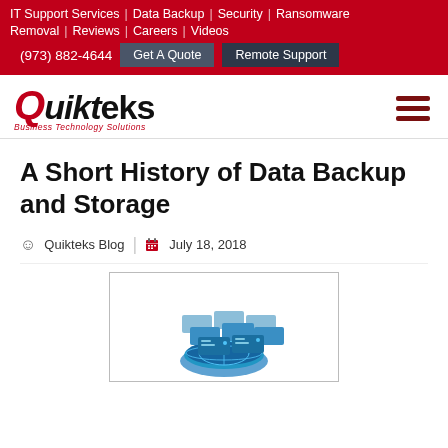IT Support Services | Data Backup | Security | Ransomware Removal | Reviews | Careers | Videos | (973) 882-4644 | Get A Quote | Remote Support
[Figure (logo): Quikteks Business Technology Solutions logo with red Q and hamburger menu icon]
A Short History of Data Backup and Storage
Quikteks Blog | July 18, 2018
[Figure (illustration): Data backup and storage illustration showing stacked blue server/database icons with a globe]